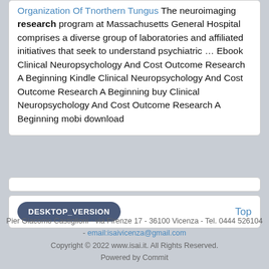Organization Of Tnorthern Tungus The neuroimaging research program at Massachusetts General Hospital comprises a diverse group of laboratories and affiliated initiatives that seek to understand psychiatric … Ebook Clinical Neuropsychology And Cost Outcome Research A Beginning Kindle Clinical Neuropsychology And Cost Outcome Research A Beginning buy Clinical Neuropsychology And Cost Outcome Research A Beginning mobi download
DESKTOP_VERSION    Top
Pier Giacomo Castiglioni - via Firenze 17 - 36100 Vicenza - Tel. 0444 526104 - email:isaivicenza@gmail.com
Copyright © 2022 www.isai.it. All Rights Reserved.
Powered by Commit